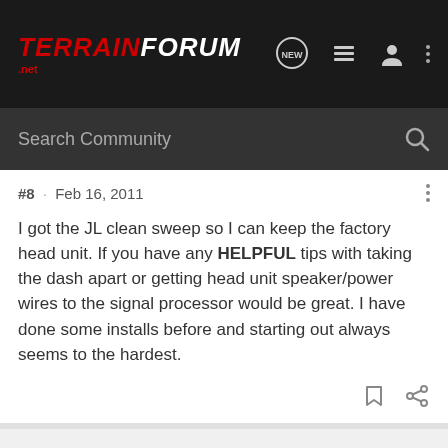TerrainForum.net
Search Community
#8 · Feb 16, 2011
I got the JL clean sweep so I can keep the factory head unit. If you have any HELPFUL tips with taking the dash apart or getting head unit speaker/power wires to the signal processor would be great. I have done some installs before and starting out always seems to the hardest.
KFUDGE88 · Registered
Joined Jan 21, 2011 · 139 Posts